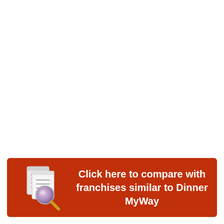[Figure (infographic): Red banner with a document/magnifying glass search icon on the left and bold white text reading 'Click here to compare with franchises similar to Dinner MyWay']